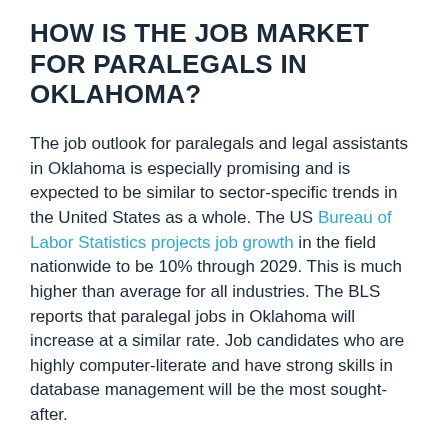HOW IS THE JOB MARKET FOR PARALEGALS IN OKLAHOMA?
The job outlook for paralegals and legal assistants in Oklahoma is especially promising and is expected to be similar to sector-specific trends in the United States as a whole. The US Bureau of Labor Statistics projects job growth in the field nationwide to be 10% through 2029. This is much higher than average for all industries. The BLS reports that paralegal jobs in Oklahoma will increase at a similar rate. Job candidates who are highly computer-literate and have strong skills in database management will be the most sought-after.
Paralegal jobs in Oklahoma are expected to be on the rise because companies and agencies are on the lookout to reduce costs. That means they'll be utilizing the services of paralegals and legal assistants in lieu of